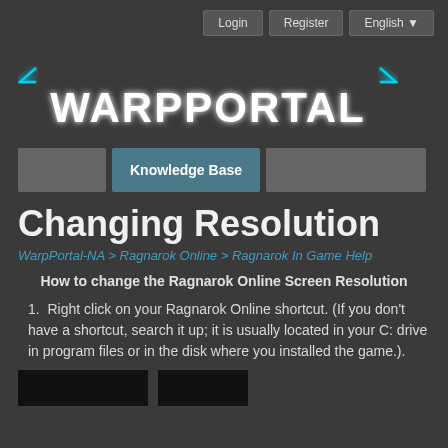Login  Register  English
[Figure (logo): WarpPortal logo — white futuristic text with cyan glow on dark background]
[Figure (screenshot): Navigation bar with three buttons: blank button, Knowledge Base (active/teal), blank button]
Changing Resolution
WarpPortal-NA > Ragnarok Online > Ragnarok In Game Help
How to change the Ragnarok Online Screen Resolution
1.  Right click on your Ragnarok Online shortcut. (If you don't have a shortcut, search it up; it is usually located in your C: drive in program files or in the disk where you installed the game.).
[Figure (screenshot): Two dark screenshot thumbnails at bottom of page, partially visible]